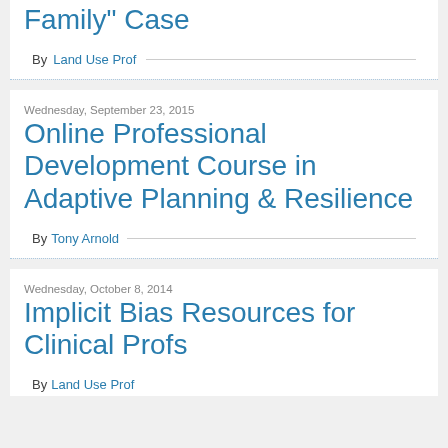Family" Case
By Land Use Prof
Wednesday, September 23, 2015
Online Professional Development Course in Adaptive Planning & Resilience
By Tony Arnold
Wednesday, October 8, 2014
Implicit Bias Resources for Clinical Profs
By Land Use Prof